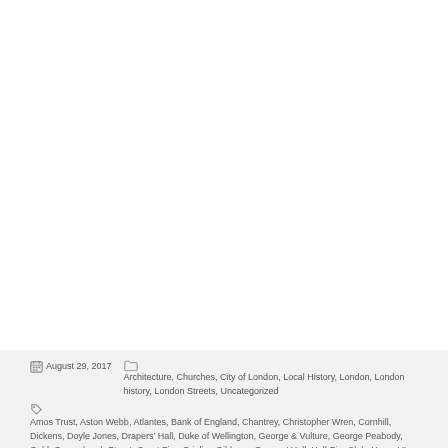August 29, 2017 | Architecture, Churches, City of London, Local History, London, London history, London Streets, Uncategorized | Amos Trust, Aston Webb, Atlantes, Bank of England, Chantrey, Christopher Wren, Cornhill, Dickens, Doyle Jones, Drapers' Hall, Duke of Wellington, George & Vulture, George Peabody, Gold, Gracechurch Street, Great Fire, Grinling Gibbons, Grocers' Hall, Hell-Fire Club, Henry VI, Henry VIII, Herbert Baker, Herbert Williams, ICAEW, Jamaica Wine House, James Henry Greathead, John Belcher, Jules Dalou, Lombard Street, London Stock Exchange, London Wall, Lord Mayor, Lothbury, Mansion...